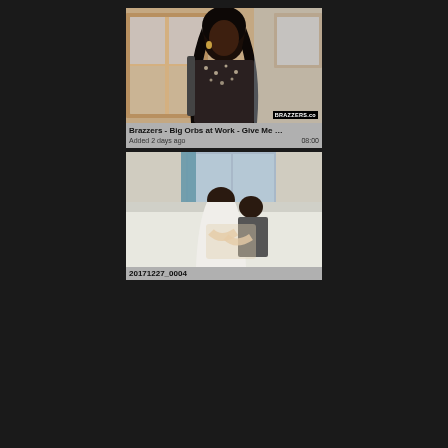[Figure (photo): Thumbnail of a woman in a patterned top standing in front of a window with a Brazzers.co watermark]
Brazzers - Big Orbs at Work - Give Me …
Added 2 days ago   08:00
[Figure (photo): Thumbnail of two people on a bed near a window]
20171227_0004